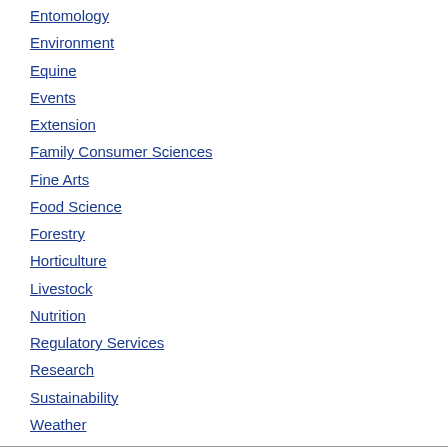Entomology
Environment
Equine
Events
Extension
Family Consumer Sciences
Fine Arts
Food Science
Forestry
Horticulture
Livestock
Nutrition
Regulatory Services
Research
Sustainability
Weather